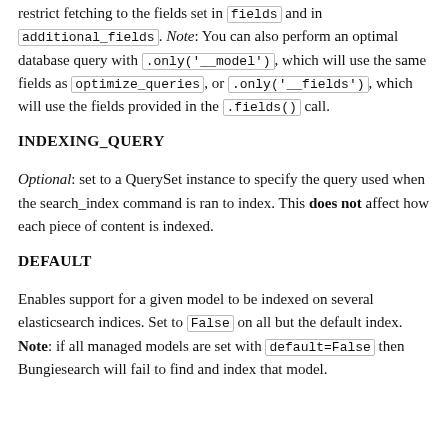restrict fetching to the fields set in fields and in additional_fields. Note: You can also perform an optimal database query with .only('__model'), which will use the same fields as optimize_queries, or .only('__fields'), which will use the fields provided in the .fields() call.
INDEXING_QUERY
Optional: set to a QuerySet instance to specify the query used when the search_index command is ran to index. This does not affect how each piece of content is indexed.
DEFAULT
Enables support for a given model to be indexed on several elasticsearch indices. Set to False on all but the default index. Note: if all managed models are set with default=False then Bungiesearch will fail to find and index that model.